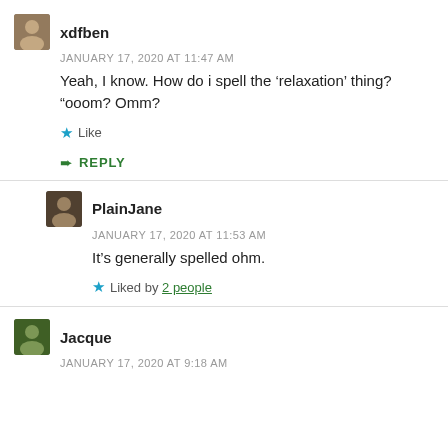xdfben
JANUARY 17, 2020 AT 11:47 AM
Yeah, I know. How do i spell the ‘relaxation’ thing? “oooom? Omm?
Like
REPLY
PlainJane
JANUARY 17, 2020 AT 11:53 AM
It’s generally spelled ohm.
Liked by 2 people
Jacque
JANUARY 17, 2020 AT 9:18 AM